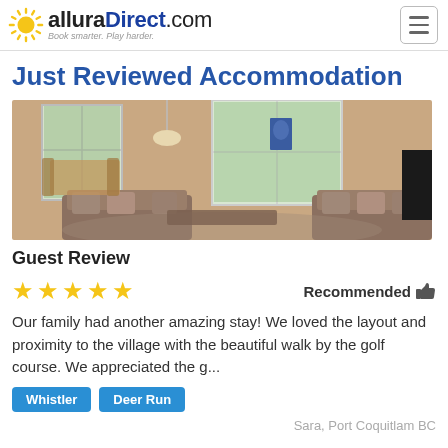alluraDirect.com — Book smarter. Play harder.
Just Reviewed Accommodation
[Figure (photo): Interior photo of a living room with sofas, dining area, windows with garden view, and a floor lamp.]
Guest Review
★★★★★  Recommended 👍
Our family had another amazing stay! We loved the layout and proximity to the village with the beautiful walk by the golf course. We appreciated the g...
Whistler
Deer Run
Sara, Port Coquitlam BC